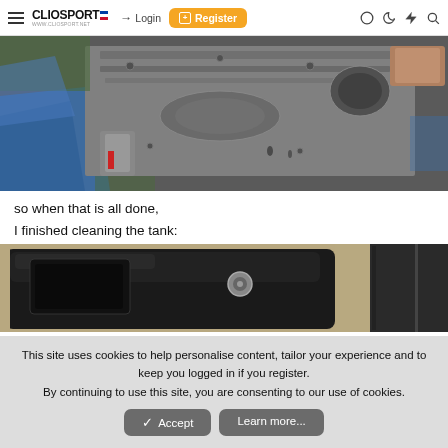ClioSport.net — Login | Register
[Figure (photo): Underside of a car chassis/floor pan being worked on, with blue tarpaulin visible on the left and various metal components]
so when that is all done,
I finished cleaning the tank:
[Figure (photo): A cleaned fuel tank (black) sitting on a sandy/concrete surface]
This site uses cookies to help personalise content, tailor your experience and to keep you logged in if you register.
By continuing to use this site, you are consenting to our use of cookies.